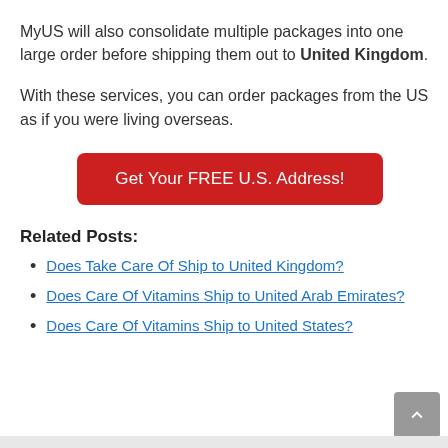MyUS will also consolidate multiple packages into one large order before shipping them out to United Kingdom.
With these services, you can order packages from the US as if you were living overseas.
[Figure (other): Red button with text: Get Your FREE U.S. Address!]
Related Posts:
Does Take Care Of Ship to United Kingdom?
Does Care Of Vitamins Ship to United Arab Emirates?
Does Care Of Vitamins Ship to United States?